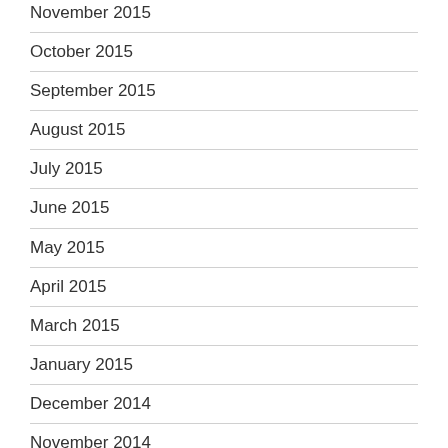November 2015
October 2015
September 2015
August 2015
July 2015
June 2015
May 2015
April 2015
March 2015
January 2015
December 2014
November 2014